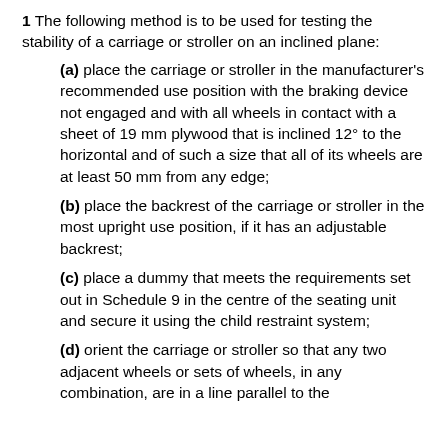1 The following method is to be used for testing the stability of a carriage or stroller on an inclined plane:
(a) place the carriage or stroller in the manufacturer's recommended use position with the braking device not engaged and with all wheels in contact with a sheet of 19 mm plywood that is inclined 12° to the horizontal and of such a size that all of its wheels are at least 50 mm from any edge;
(b) place the backrest of the carriage or stroller in the most upright use position, if it has an adjustable backrest;
(c) place a dummy that meets the requirements set out in Schedule 9 in the centre of the seating unit and secure it using the child restraint system;
(d) orient the carriage or stroller so that any two adjacent wheels or sets of wheels, in any combination, are in a line parallel to the